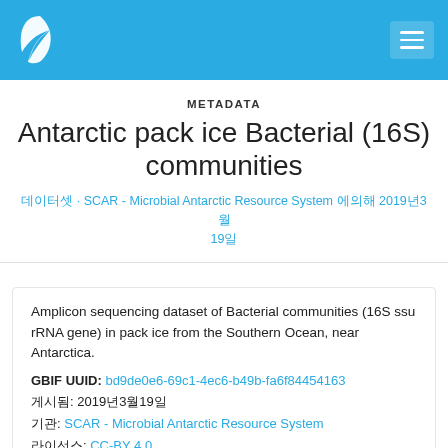[Figure (logo): White leaf/plant logo on blue header bar, with hamburger menu button on right]
METADATA
Antarctic pack ice Bacterial (16S) communities
데이터셋 · SCAR - Microbial Antarctic Resource System 에의해 2019년3월 19일
Amplicon sequencing dataset of Bacterial communities (16S ssu rRNA gene) in pack ice from the Southern Ocean, near Antarctica.
GBIF UUID: bd9de0e6-69c1-4ec6-b49b-fa6f84454163
게시됨: 2019년3월19일
기관: SCAR - Microbial Antarctic Resource System
라이선스: CC-BY 4.0